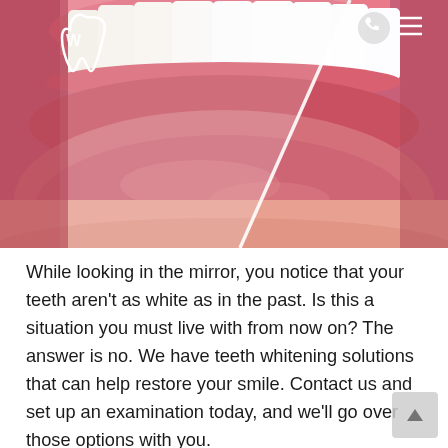[Figure (photo): Close-up photo of a smiling mouth showing teeth whitening comparison. The left side shows naturally white teeth and the right side shows brighter/whiter teeth after whitening treatment. A white diagonal line or veneer sample overlays the image. A dental logo (tooth shape) appears in the top-left corner, and navigation icons appear in the top-right.]
While looking in the mirror, you notice that your teeth aren't as white as in the past. Is this a situation you must live with from now on? The answer is no. We have teeth whitening solutions that can help restore your smile. Contact us and set up an examination today, and we'll go over those options with you.